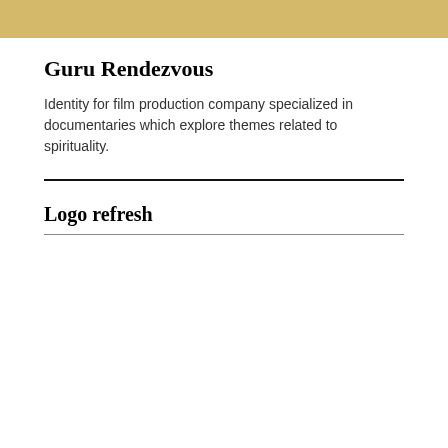[Figure (other): Gold/tan colored banner bar at the top of the page]
Guru Rendezvous
Identity for film production company specialized in documentaries which explore themes related to spirituality.
Logo refresh